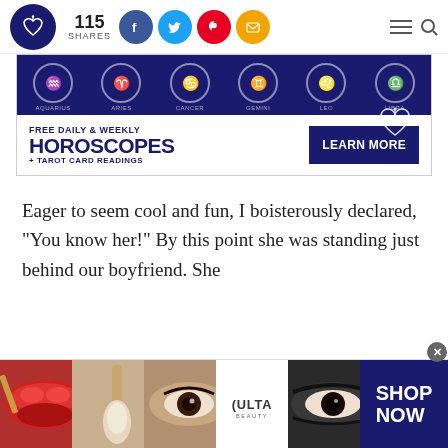115 SHARES — social share bar with Facebook, Twitter, Pinterest, Email icons; hamburger menu and search icons
[Figure (infographic): Horoscope ad banner: zodiac signs (Aquarius, Aries, Cancer, Gemini, Leo, Libra) with blue background and FREE DAILY & WEEKLY HOROSCOPES + TAROT CARD READINGS with LEARN MORE button]
Eager to seem cool and fun, I boisterously declared, "You know her!" By this point she was standing just behind our boyfriend. She
[Figure (photo): Bottom advertisement banner for ULTA beauty with makeup images (lips, brush, eye, ULTA logo, eyes) and SHOP NOW button with close X]